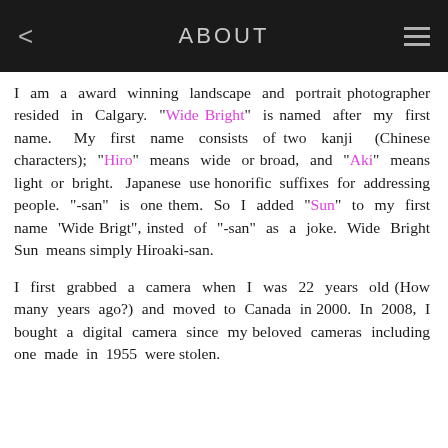ABOUT
I am a award winning landscape and portrait photographer resided in Calgary. "Wide Bright" is named after my first name. My first name consists of two kanji (Chinese characters); "Hiro" means wide or broad, and "Aki" means light or bright. Japanese use honorific suffixes for addressing people. "-san" is one them. So I added "Sun" to my first name 'Wide Brigt", insted of "-san" as a joke. Wide Bright Sun means simply Hiroaki-san.
I first grabbed a camera when I was 22 years old (How many years ago?) and moved to Canada in 2000. In 2008, I bought a digital camera since my beloved cameras including one made in 1955 were stolen.